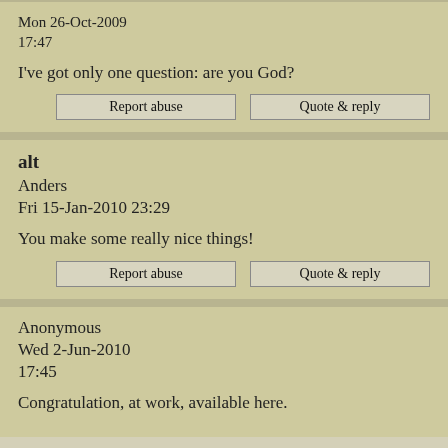Mon 26-Oct-2009
17:47
I've got only one question: are you God?
alt
Anders
Fri 15-Jan-2010 23:29
You make some really nice things!
Anonymous
Wed 2-Jun-2010
17:45
Congratulation, at work, available here.